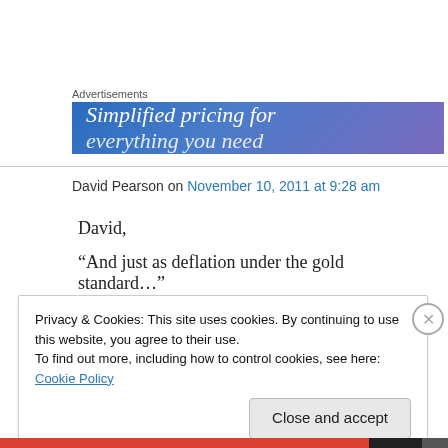Advertisements
[Figure (other): Advertisement banner with gradient blue-purple background reading 'Simplified pricing for' in white italic text]
David Pearson on November 10, 2011 at 9:28 am
David,
“And just as deflation under the gold standard…”
Privacy & Cookies: This site uses cookies. By continuing to use this website, you agree to their use.
To find out more, including how to control cookies, see here: Cookie Policy